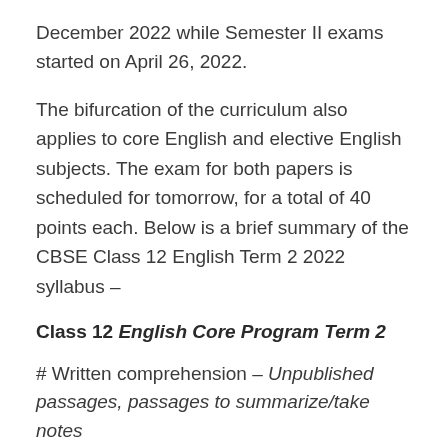December 2022 while Semester II exams started on April 26, 2022.
The bifurcation of the curriculum also applies to core English and elective English subjects. The exam for both papers is scheduled for tomorrow, for a total of 40 points each. Below is a brief summary of the CBSE Class 12 English Term 2 2022 syllabus –
Class 12 English Core Program Term 2
# Written comprehension – Unpublished passages, passages to summarize/take notes
# Creative writing and grammar skills – short writing tasks, long writing tasks, determiners, tense, sentence reorganization